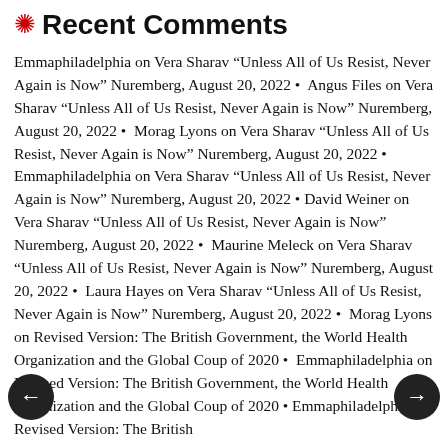Recent Comments
Emmaphiladelphia on Vera Sharav “Unless All of Us Resist, Never Again is Now” Nuremberg, August 20, 2022 • Angus Files on Vera Sharav “Unless All of Us Resist, Never Again is Now” Nuremberg, August 20, 2022 • Morag Lyons on Vera Sharav “Unless All of Us Resist, Never Again is Now” Nuremberg, August 20, 2022 • Emmaphiladelphia on Vera Sharav “Unless All of Us Resist, Never Again is Now” Nuremberg, August 20, 2022 • David Weiner on Vera Sharav “Unless All of Us Resist, Never Again is Now” Nuremberg, August 20, 2022 • Maurine Meleck on Vera Sharav “Unless All of Us Resist, Never Again is Now” Nuremberg, August 20, 2022 • Laura Hayes on Vera Sharav “Unless All of Us Resist, Never Again is Now” Nuremberg, August 20, 2022 • Morag Lyons on Revised Version: The British Government, the World Health Organization and the Global Coup of 2020 • Emmaphiladelphia on Revised Version: The British Government, the World Health Organization and the Global Coup of 2020 • Emmaphiladelphia on Revised Version: The British